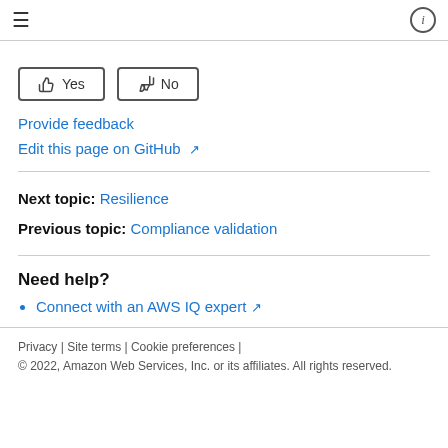≡   ⓘ
[Figure (other): Yes and No feedback buttons with thumbs up and thumbs down icons]
Provide feedback
Edit this page on GitHub ↗
Next topic: Resilience
Previous topic: Compliance validation
Need help?
Connect with an AWS IQ expert ↗
Privacy | Site terms | Cookie preferences | © 2022, Amazon Web Services, Inc. or its affiliates. All rights reserved.